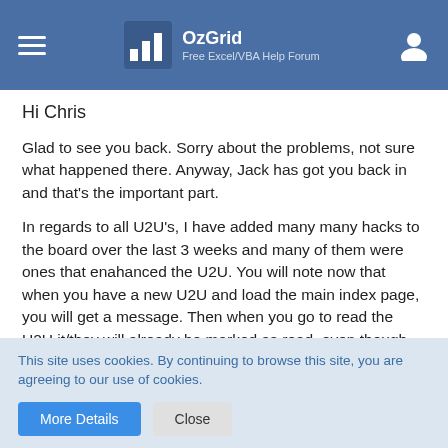OzGrid — Free Excel/VBA Help Forum
Hi Chris
Glad to see you back. Sorry about the problems, not sure what happened there. Anyway, Jack has got you back in and that's the important part.
In regards to all U2U's, I have added many many hacks to the board over the last 3 weeks and many of them were ones that enahanced the U2U. You will note now that when you have a new U2U and load the main index page, you will get a message. Then when you go to read the U2U it/they will already be marked as read, even though you haven't read it/them. There are a few others U2U issues that also need addressing.
This site uses cookies. By continuing to browse this site, you are agreeing to our use of cookies.